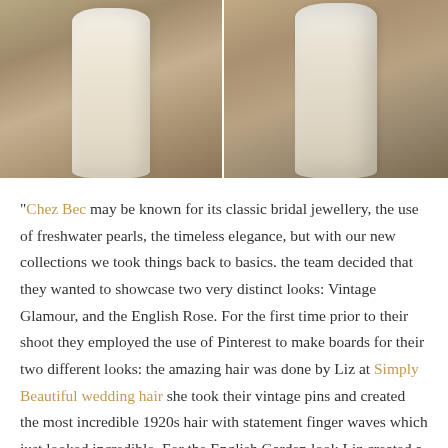[Figure (photo): Two side-by-side photographs of a model/person wearing a white lace or textured wedding/bridal dress, showing back and side views against a warm wooden background.]
“Chez Bec may be known for its classic bridal jewellery, the use of freshwater pearls, the timeless elegance, but with our new collections we took things back to basics. the team decided that they wanted to showcase two very distinct looks: Vintage Glamour, and the English Rose. For the first time prior to their shoot they employed the use of Pinterest to make boards for their two different looks: the amazing hair was done by Liz at Simply Beautiful wedding hair she took their vintage pins and created the most incredible 1920s hair with statement finger waves which just looked incredible. For the English Garden look Liz created a flowing fishtail plait with soft curls and waves. Ellie from The Beauty Aisle used liquid liner and statement lips